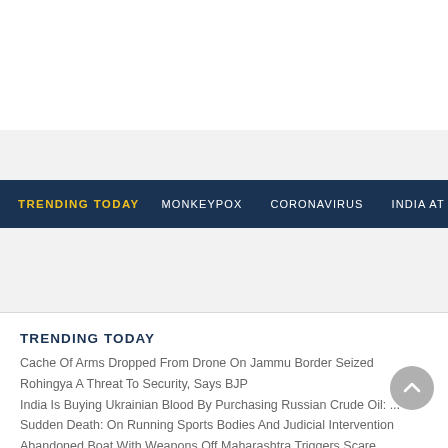TRENDING TODAY  MONKEYPOX  CORONAVIRUS  INDIA AT 75
TRENDING TODAY
Cache Of Arms Dropped From Drone On Jammu Border Seized
Rohingya A Threat To Security, Says BJP
India Is Buying Ukrainian Blood By Purchasing Russian Crude Oil: ...
Sudden Death: On Running Sports Bodies And Judicial Intervention
Abandoned Boat With Weapons Off Maharashtra Triggers Scare